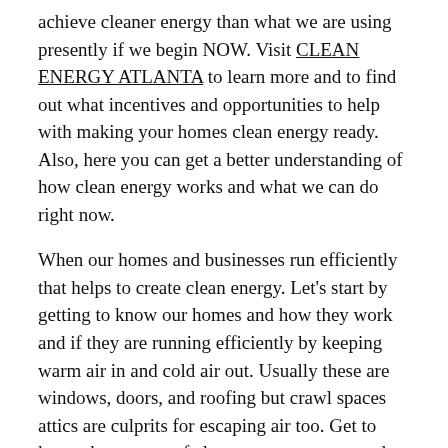achieve cleaner energy than what we are using presently if we begin NOW. Visit CLEAN ENERGY ATLANTA to learn more and to find out what incentives and opportunities to help with making your homes clean energy ready. Also, here you can get a better understanding of how clean energy works and what we can do right now.
When our homes and businesses run efficiently that helps to create clean energy. Let's start by getting to know our homes and how they work and if they are running efficiently by keeping warm air in and cold air out. Usually these are windows, doors, and roofing but crawl spaces attics are culprits for escaping air too. Get to know these types of clean energy resources, they are the most popular.
Solar Power
Wind Turbines